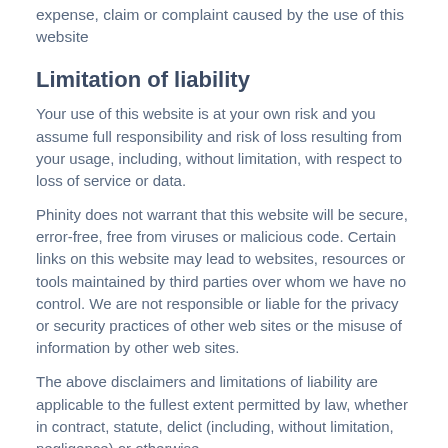expense, claim or complaint caused by the use of this website
Limitation of liability
Your use of this website is at your own risk and you assume full responsibility and risk of loss resulting from your usage, including, without limitation, with respect to loss of service or data.
Phinity does not warrant that this website will be secure, error-free, free from viruses or malicious code. Certain links on this website may lead to websites, resources or tools maintained by third parties over whom we have no control. We are not responsible or liable for the privacy or security practices of other web sites or the misuse of information by other web sites.
The above disclaimers and limitations of liability are applicable to the fullest extent permitted by law, whether in contract, statute, delict (including, without limitation, negligence) or otherwise.
We reserve the right to amend the contents of this Terms